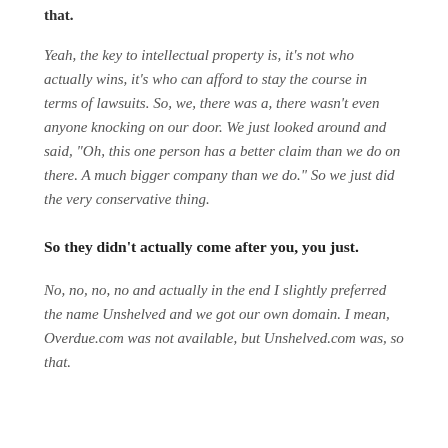that.
Yeah, the key to intellectual property is, it’s not who actually wins, it’s who can afford to stay the course in terms of lawsuits. So, we, there was a, there wasn’t even anyone knocking on our door. We just looked around and said, “Oh, this one person has a better claim than we do on there. A much bigger company than we do.” So we just did the very conservative thing.
So they didn’t actually come after you, you just.
No, no, no, no and actually in the end I slightly preferred the name Unshelved and we got our own domain. I mean, Overdue.com was not available, but Unshelved.com was, so that.